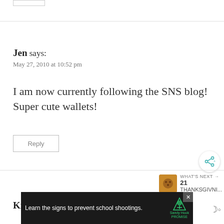Jen says: May 27, 2010 at 10:52 pm
I am now currently following the SNS blog! Super cute wallets!
Reply
[Figure (other): Share button icon (circle with share symbol)]
[Figure (other): What's Next widget showing item 21 THANKSGIVNI... with cookie thumbnail]
Kim says:
[Figure (other): Sandy Hook Promise advertisement banner reading 'Learn the signs to prevent school shootings.' with tree logo]